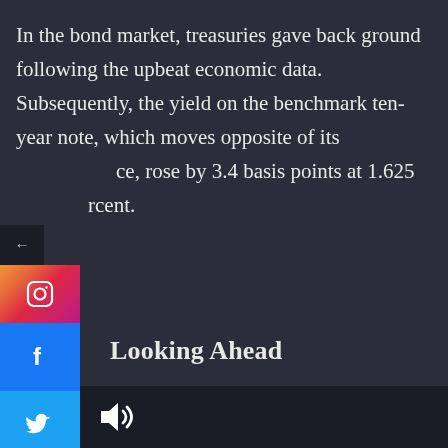In the bond market, treasuries gave back ground following the upbeat economic data. Subsequently, the yield on the benchmark ten-year note, which moves opposite of its price, rose by 3.4 basis points at 1.625 percent.
Looking Ahead
Trading on Friday is likely to be driven by reaction to the monthly jobs report, which could have a significant impact on the out...